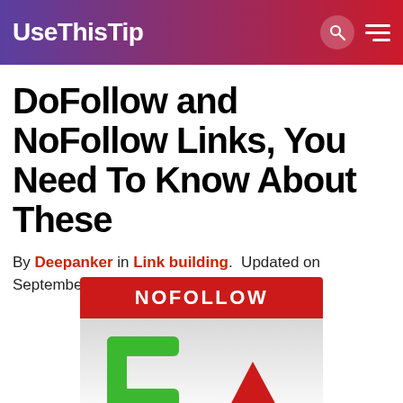UseThisTip
DoFollow and NoFollow Links, You Need To Know About These
By Deepanker in Link building.  Updated on September 20, 2011.
[Figure (illustration): A NoFollow badge/icon image with red banner at top reading NOFOLLOW and green and red letter/arrow shapes below on a light grey to white gradient background.]